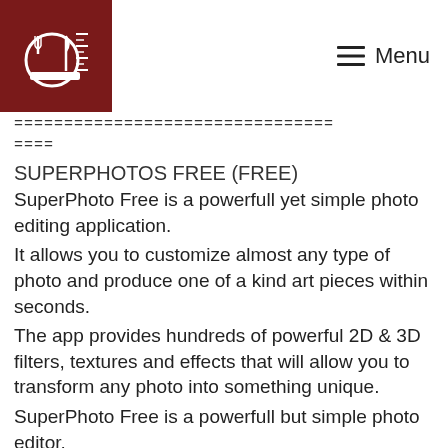Menu
================================ ====
SUPERPHOTOS FREE (FREE)
SuperPhoto Free is a powerfull yet simple photo editing application.
It allows you to customize almost any type of photo and produce one of a kind art pieces within seconds.
The app provides hundreds of powerful 2D & 3D filters, textures and effects that will allow you to transform any photo into something unique.
SuperPhoto Free is a powerfull but simple photo editor.
================